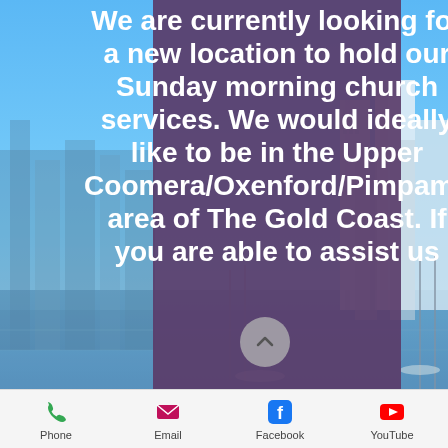[Figure (photo): City skyline with tall buildings, blue sky, and marina with boats visible — Gold Coast Australia background photo]
We are currently looking for a new location to hold our Sunday morning church services. We would ideally like to be in the Upper Coomera/Oxenford/Pimpama area of The Gold Coast. If you are able to assist us
Phone  Email  Facebook  YouTube